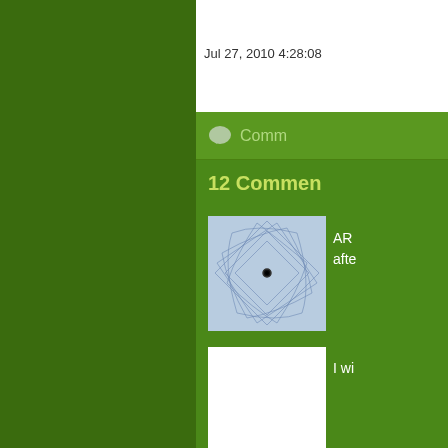Jul 27, 2010 4:28:08
Comm
12 Commen
[Figure (illustration): Spiral geometric pattern on light blue background]
AR
afte
[Figure (illustration): Blank white square avatar]
I wi
[Figure (illustration): Blue curved lines pattern on light blue background]
wha
[Figure (illustration): Pink/red geometric pattern with white lines]
Yu